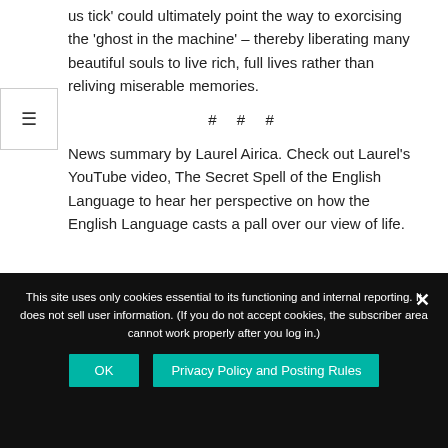us tick' could ultimately point the way to exorcising the 'ghost in the machine' – thereby liberating many beautiful souls to live rich, full lives rather than reliving miserable memories.
# # #
News summary by Laurel Airica. Check out Laurel's YouTube video, The Secret Spell of the English Language to hear her perspective on how the English Language casts a pall over our view of life.
This site uses only cookies essential to its functioning and internal reporting. It does not sell user information. (If you do not accept cookies, the subscriber area cannot work properly after you log in.)
OK
Privacy Policy and Posting Rules